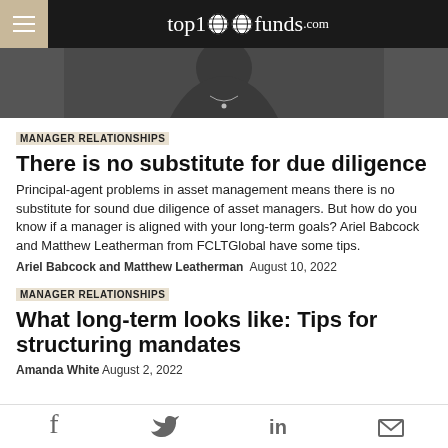top1000funds.com
[Figure (photo): Black and white photo of a woman wearing a necklace, cropped to show upper body]
MANAGER RELATIONSHIPS
There is no substitute for due diligence
Principal-agent problems in asset management means there is no substitute for sound due diligence of asset managers. But how do you know if a manager is aligned with your long-term goals? Ariel Babcock and Matthew Leatherman from FCLTGlobal have some tips.
Ariel Babcock and Matthew Leatherman  August 10, 2022
MANAGER RELATIONSHIPS
What long-term looks like: Tips for structuring mandates
Amanda White  August 2, 2022
Social share icons: Facebook, Twitter, LinkedIn, Email